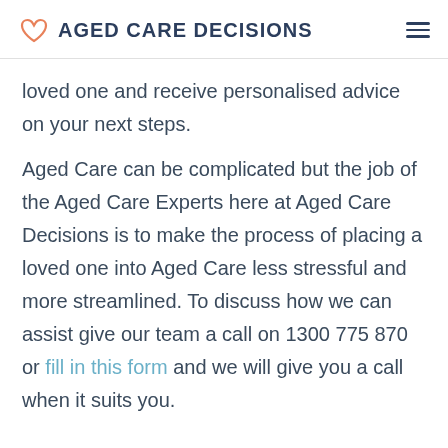AGED CARE DECISIONS
loved one and receive personalised advice on your next steps.
Aged Care can be complicated but the job of the Aged Care Experts here at Aged Care Decisions is to make the process of placing a loved one into Aged Care less stressful and more streamlined. To discuss how we can assist give our team a call on 1300 775 870 or fill in this form and we will give you a call when it suits you.